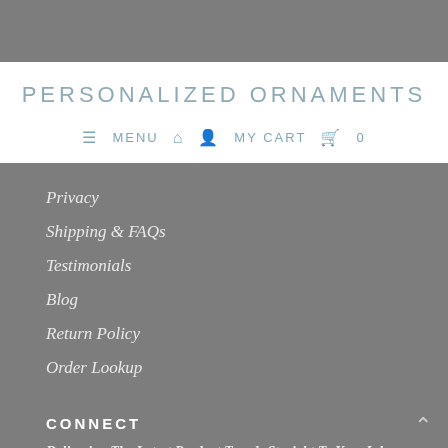PERSONALIZED ORNAMENTS
≡ MENU  🏠  👤  MY CART  🛒  0
Privacy
Shipping & FAQs
Testimonials
Blog
Return Policy
Order Lookup
CONNECT
Delivering The Latest Product Trends Straight To Your Inbox.